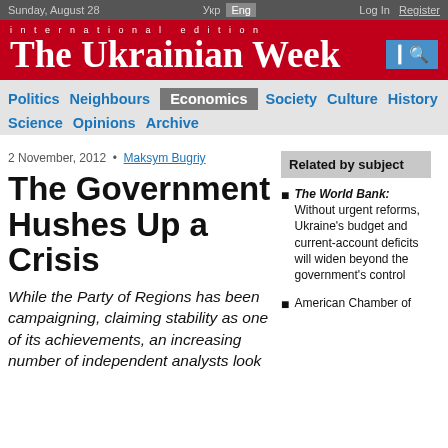Sunday, August 28 | Укр Eng | Log In Register
international edition The Ukrainian Week
Politics Neighbours Economics Society Culture History Science Opinions Archive
2 November, 2012 • Maksym Bugriy
The Government Hushes Up a Crisis
While the Party of Regions has been campaigning, claiming stability as one of its achievements, an increasing number of independent analysts look
Related by subject
The World Bank: Without urgent reforms, Ukraine's budget and current-account deficits will widen beyond the government's control
American Chamber of